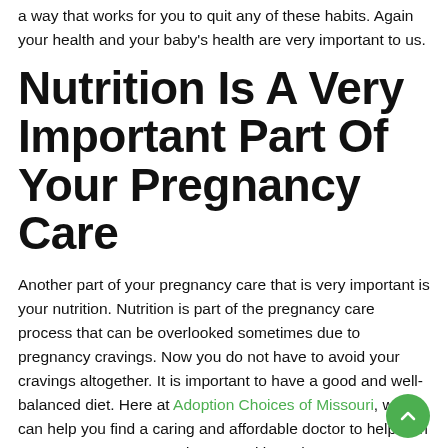a way that works for you to quit any of these habits. Again your health and your baby's health are very important to us.
Nutrition Is A Very Important Part Of Your Pregnancy Care
Another part of your pregnancy care that is very important is your nutrition. Nutrition is part of the pregnancy care process that can be overlooked sometimes due to pregnancy cravings. Now you do not have to avoid your cravings altogether. It is important to have a good and well-balanced diet. Here at Adoption Choices of Missouri, we can help you find a caring and affordable doctor to help with your pregnancy care and your nutrition. They